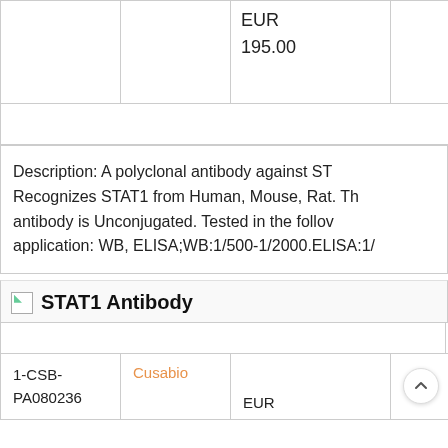|  |  | EUR
195.00 |  |
|  |  |  |  |
Description: A polyclonal antibody against ST Recognizes STAT1 from Human, Mouse, Rat. Th antibody is Unconjugated. Tested in the follov application: WB, ELISA;WB:1/500-1/2000.ELISA:1/
STAT1 Antibody
| 1-CSB-PA080236 | Cusabio | EUR |  |